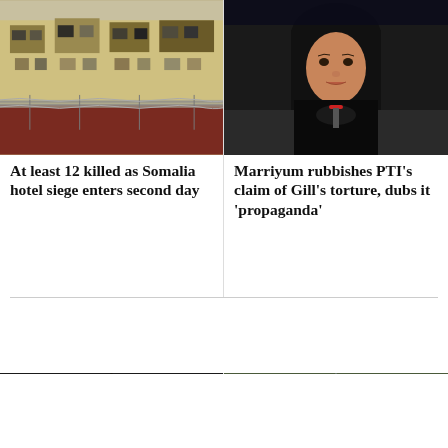[Figure (photo): Damaged building exterior with broken windows, yellow facade, barbed wire fence, aftermath of Somalia hotel siege]
[Figure (photo): Woman in black hijab and clothing seated at a press conference with microphone, Marriyum Aurangzeb]
At least 12 killed as Somalia hotel siege enters second day
Marriyum rubbishes PTI's claim of Gill's torture, dubs it 'propaganda'
[Figure (photo): Man speaking into microphone at night rally, wearing black shalwar kameez with colorful scarf, Imran Khan]
[Figure (photo): Flooded street with vehicles and people wading through water, tree-lined road, monsoon flooding]